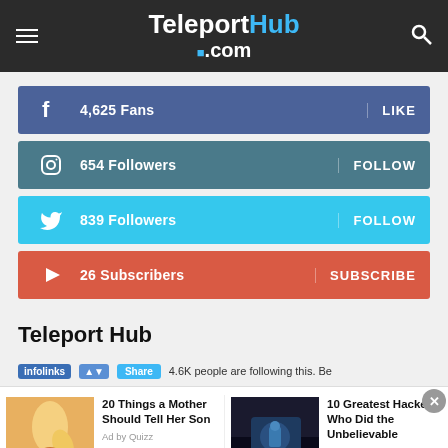TeleportHub .com
4,625 Fans LIKE
654 Followers FOLLOW
839 Followers FOLLOW
26 Subscribers SUBSCRIBE
Teleport Hub
infolinks | 4.6K people are following this. Be
20 Things a Mother Should Tell Her Son
Ad by Quizz
10 Greatest Hackers Who Did the Unbelievable
Ad by Quizz